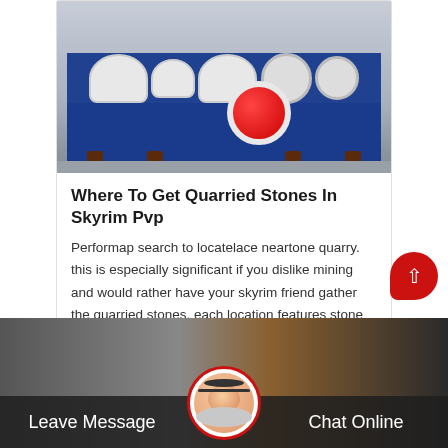[Figure (photo): Industrial machine with blue frame, white cylindrical motors/fans on top, red roller wheel, on a concrete floor]
Where To Get Quarried Stones In Skyrim Pvp
Performap search to locatelace neartone quarry. this is especially significant if you dislike mining and would rather have your skyrim friend gather the quarried stones. each location features stone vein…
[Figure (photo): Industrial/construction scene at the bottom of the page]
Leave Message
Chat Online